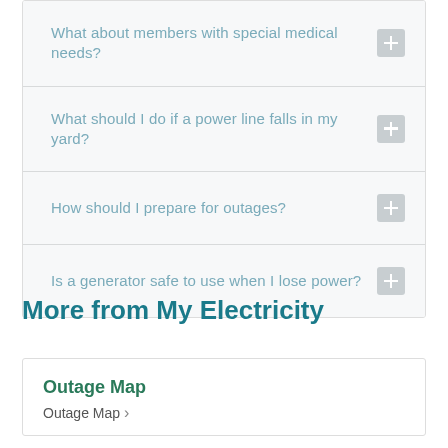What about members with special medical needs?
What should I do if a power line falls in my yard?
How should I prepare for outages?
Is a generator safe to use when I lose power?
More from My Electricity
Outage Map
Outage Map →